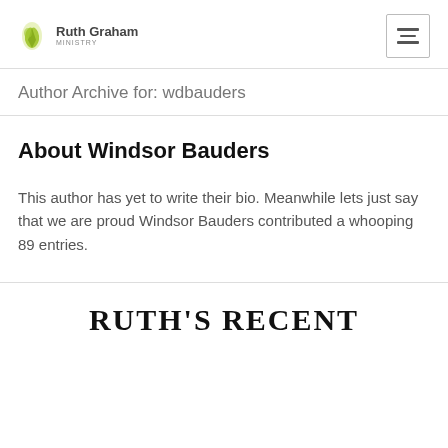Ruth Graham Ministry
Author Archive for: wdbauders
About Windsor Bauders
This author has yet to write their bio. Meanwhile lets just say that we are proud Windsor Bauders contributed a whooping 89 entries.
RUTH'S RECENT